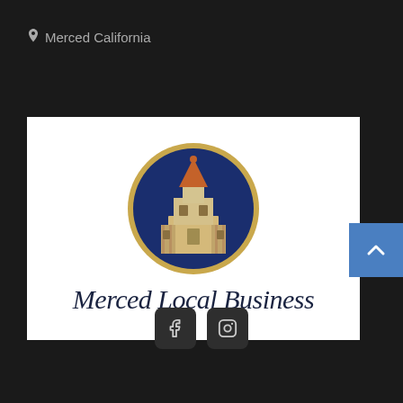Merced California
[Figure (logo): Merced Local Business logo: circular emblem with a blue background showing a cream/gold colored building tower with an orange/copper roof, surrounded by a gold circle border. Below the circle, text reads 'Merced Local Business' in italic serif font on white background.]
[Figure (other): Blue scroll-to-top button with upward chevron arrow, positioned at right side.]
[Figure (other): Two social media icon buttons: Facebook (f) and Instagram (camera) in dark rounded square buttons.]